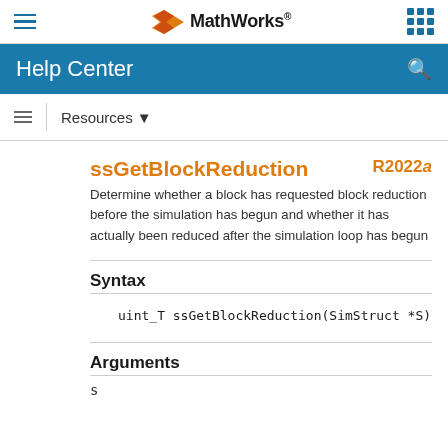MathWorks Help Center
ssGetBlockReduction
Determine whether a block has requested block reduction before the simulation has begun and whether it has actually been reduced after the simulation loop has begun
Syntax
uint_T ssGetBlockReduction(SimStruct *S)
Arguments
s